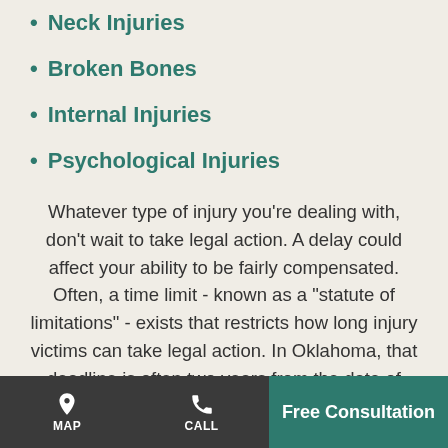Neck Injuries
Broken Bones
Internal Injuries
Psychological Injuries
Whatever type of injury you're dealing with, don't wait to take legal action. A delay could affect your ability to be fairly compensated. Often, a time limit - known as a "statute of limitations" - exists that restricts how long injury victims can take legal action. In Oklahoma, that deadline is often two years from the date of your accident. If you wait
MAP | CALL | Free Consultation